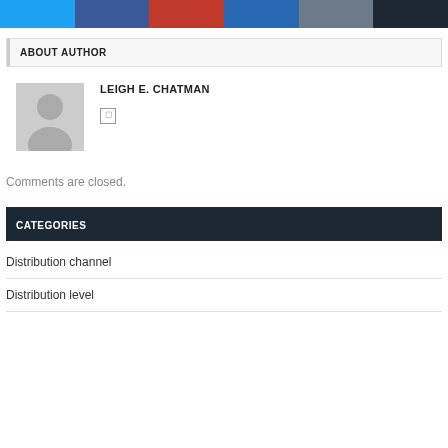[Figure (other): Row of six social media share buttons in blue, dark blue, red, LinkedIn blue, gray-blue, and dark/black colors]
ABOUT AUTHOR
[Figure (photo): Default gray avatar silhouette placeholder image for author Leigh E. Chatman]
LEIGH E. CHATMAN
Comments are closed.
CATEGORIES
Distribution channel
Distribution level